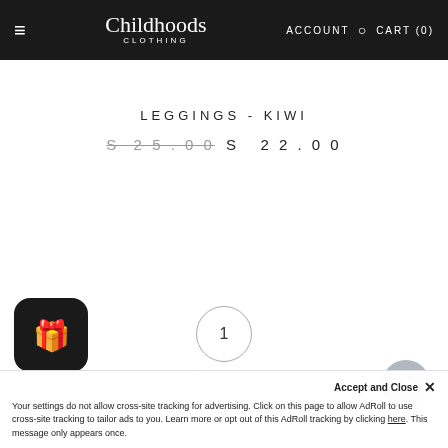≡  Childhoods Clothing  ACCOUNT  🔍  CART (0)
LEGGINGS - KIWI
$25.00  $22.00
1
BACK TO
Your settings do not allow cross-site tracking for advertising. Click on this page to allow AdRoll to use cross-site tracking to tailor ads to you. Learn more or opt out of this AdRoll tracking by clicking here. This message only appears once.